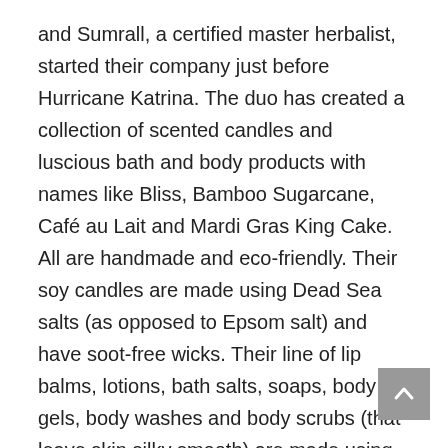and Sumrall, a certified master herbalist, started their company just before Hurricane Katrina. The duo has created a collection of scented candles and luscious bath and body products with names like Bliss, Bamboo Sugarcane, Café au Lait and Mardi Gras King Cake. All are handmade and eco-friendly. Their soy candles are made using Dead Sea salts (as opposed to Epsom salt) and have soot-free wicks. Their line of lip balms, lotions, bath salts, soaps, body gels, body washes and body scrubs (that leave skin silky smooth) are made using fine herbs, shea butter and high-quality oils such as jojoba, avocado, olive, grape seed and apricot.
“We were motivated just by wanting to take care o...